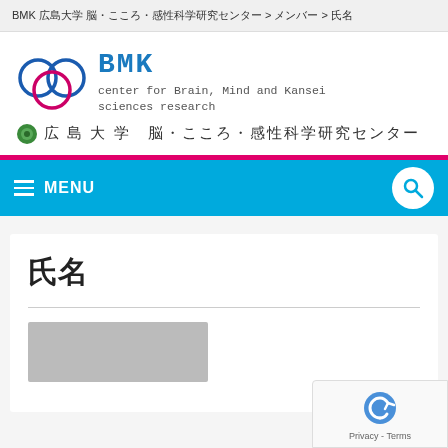BMK 広島大学 脳・こころ・感性科学研究センター > メンバー > 氏名
[Figure (logo): BMK center for Brain, Mind and Kansei sciences research logo with interlocking circles (blue and pink) and Japanese text: 広島大学 脳・こころ・感性科学研究センター]
MENU
氏名
[Figure (photo): Partial photo of a person, head and shoulders, visible at bottom of page]